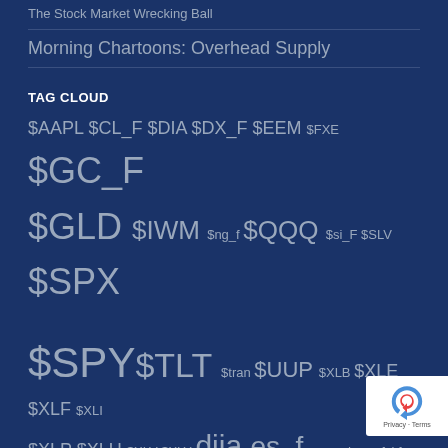The Stock Market Wrecking Ball
Morning Chartoons: Overhead Supply
TAG CLOUD
$AAPL $CL_F $DIA $DX_F $EEM $FXE $GC_F $GLD $IWM $ng_f $QQQ $si_F $SLV $SPX $SPY $TLT $tran $UUP $XLB $XLE $XLF $XLI $XLP $XLU $XLV $XLY djia es_f eurusd ewz fxi fxy gdx HG_f iyt kre mdy rut tnx ung usdjpy uso xlk zb_f zn_f
[Figure (other): reCAPTCHA badge with Privacy and Terms links]